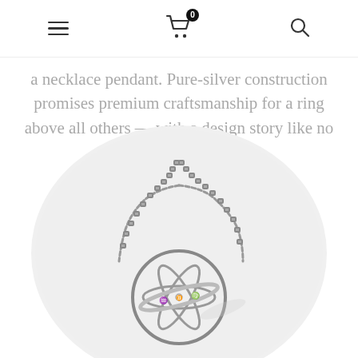Navigation: hamburger menu, cart (0 items), search
a necklace pendant. Pure-silver construction promises premium craftsmanship for a ring above all others — with a design story like no other.
[Figure (photo): Silver zodiac astrolabe sphere necklace pendant with box chain, displayed on white background inside a circular vignette. The pendant features multiple rotating rings engraved with zodiac symbols including Gemini and other astrological signs.]